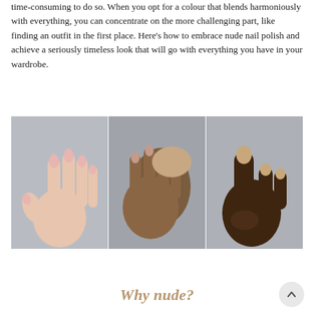time-consuming to do so. When you opt for a colour that blends harmoniously with everything, you can concentrate on the more challenging part, like finding an outfit in the first place. Here's how to embrace nude nail polish and achieve a seriously timeless look that will go with everything you have in your wardrobe.
[Figure (photo): Three hands with nude nail polish shown side by side: left shows a fair-skinned hand with light pink nails against a grey background, center shows two medium-brown skinned hands interlocked with soft pink nails, right shows a dark-skinned hand with beige/nude nails against a grey background.]
Why nude?